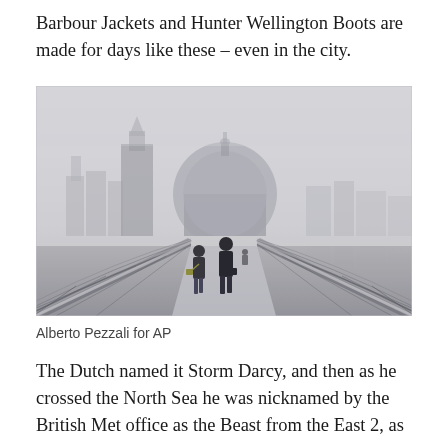Barbour Jackets and Hunter Wellington Boots are made for days like these – even in the city.
[Figure (photo): Two people walking across the Millennium Bridge in London toward St Paul's Cathedral in foggy, snowy winter conditions. The bridge's curved steel railings frame a perspective view leading to the misty dome of St Paul's and other city buildings in the background.]
Alberto Pezzali for AP
The Dutch named it Storm Darcy, and then as he crossed the North Sea he was nicknamed by the British Met office as the Beast from the East 2, as